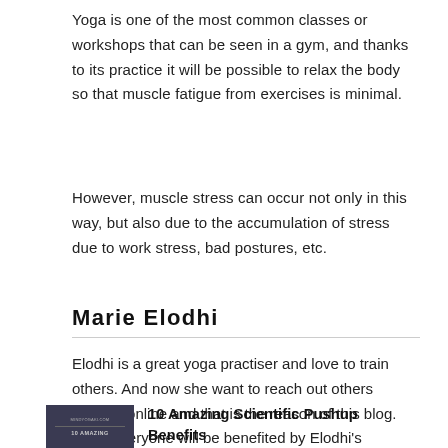Yoga is one of the most common classes or workshops that can be seen in a gym, and thanks to its practice it will be possible to relax the body so that muscle fatigue from exercises is minimal.
However, muscle stress can occur not only in this way, but also due to the accumulation of stress due to work stress, bad postures, etc.
Marie Elodhi
Elodhi is a great yoga practiser and love to train others. And now she want to reach out others through online and that is the reason of this blog. Hope everyone will be benefited by Elodhi's knowledge.
[Figure (illustration): Small thumbnail image with dark background, showing text MINDYOGAKI.COM and 10 AMAZING at the bottom]
10 Amazing Scientific Pushup Benefits That Will Blow Your Mind